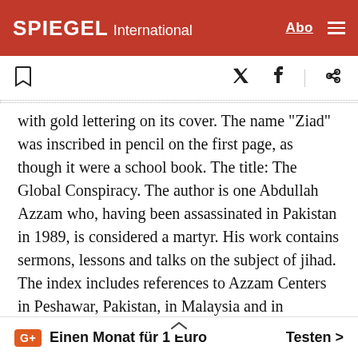SPIEGEL International
with gold lettering on its cover. The name "Ziad" was inscribed in pencil on the first page, as though it were a school book. The title: The Global Conspiracy. The author is one Abdullah Azzam who, having been assassinated in Pakistan in 1989, is considered a martyr. His work contains sermons, lessons and talks on the subject of jihad. The index includes references to Azzam Centers in Peshawar, Pakistan, in Malaysia and in Australia. Azzam writes that jihad must be "continued at all costs."
He noted that every Ara… ntry has military
6+ Einen Monat für 1 Euro  Testen >